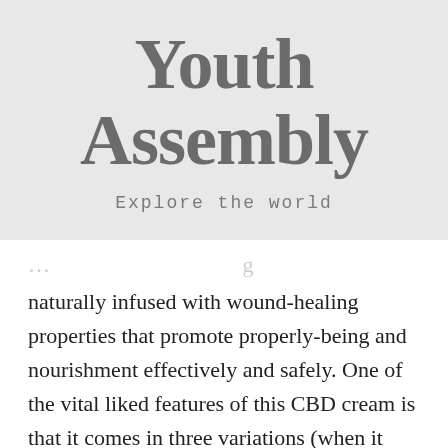Youth Assembly
Explore the world
naturally infused with wound-healing properties that promote properly-being and nourishment effectively and safely. One of the vital liked features of this CBD cream is that it comes in three variations (when it comes to fragrance), i.e., unscented, lavender and lemongrass, and rose and vanilla. While the unscented balm